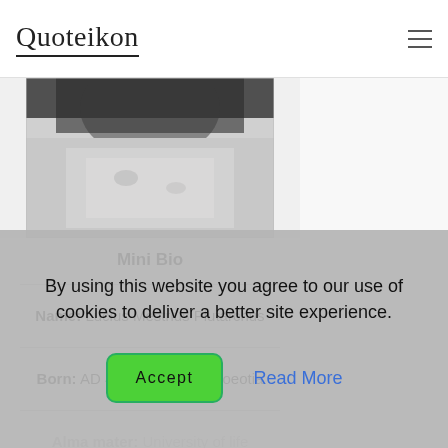Quoteikon
[Figure (photo): Black and white photo of a person, cropped showing upper body/face area, grayscale]
Mini Bio
Name: Lucius Mestrius Plutarchus
Born: AD 46, Chaeronea, Boeotia
Alma mater: (faded, behind cookie banner)
Die philosophie: (faded, behind cookie banner)
By using this website you agree to our use of cookies to deliver a better site experience.
Accept
Read More